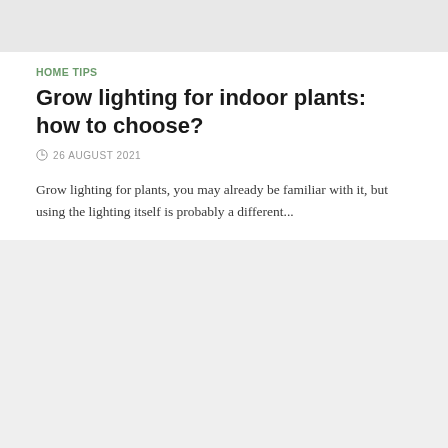[Figure (photo): Gray placeholder image bar at top of page]
HOME TIPS
Grow lighting for indoor plants: how to choose?
26 AUGUST 2021
Grow lighting for plants, you may already be familiar with it, but using the lighting itself is probably a different...
[Figure (photo): Gray placeholder image at bottom of page]